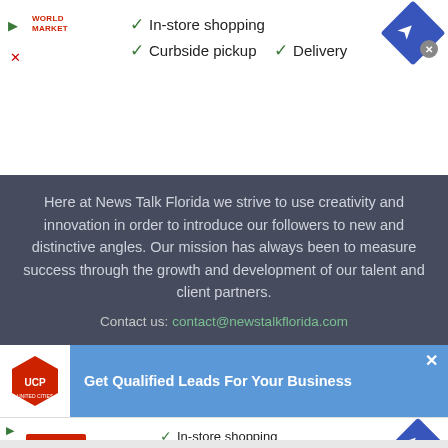[Figure (screenshot): Top advertisement banner for World Market showing checkmarks for 'In-store shopping', 'Curbside pickup', and 'Delivery' with navigation/close icons]
Here at News Talk Florida we strive to use creativity and innovation in order to introduce our followers to new and distinctive angles. Our mission has always been to measure success through the growth and development of our talent and client partners.
Contact us: contact@newstalkflorida.com
[Figure (screenshot): Blue advertisement banner for United Cities Productions (UCP) saying 'Get Qualified Leads For Your Business' with close button]
[Figure (screenshot): CVS Pharmacy advertisement showing checkmarks for 'In-store shopping', 'Drive-through', and 'Delivery' with navigation icon]